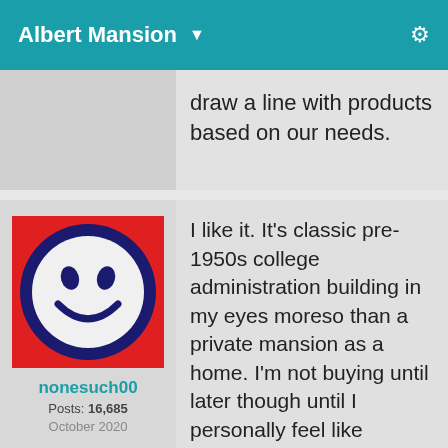Albert Mansion
draw a line with products based on our needs.
[Figure (illustration): Forum user avatar: smiley face icon on red background with dark blue border, white circle face with dark blue features]
nonesuch00
Posts: 16,685
October 2020
I like it. It's classic pre-1950s college administration building in my eyes moreso than a private mansion as a home. I'm not buying until later though until I personally feel like cleaning up the 'apopcalyptic' look to it. Fort Knox also has administrative buildings (maintained though) like that as a matter of fact, it's classic hometown USA government style